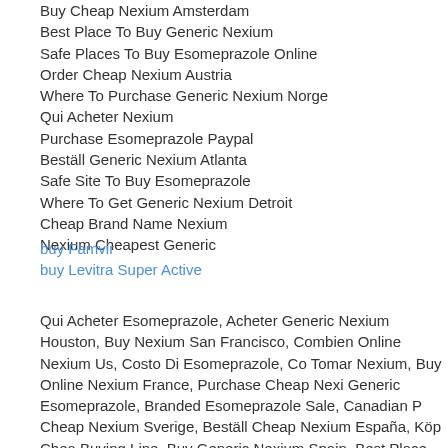Buy Cheap Nexium Amsterdam
Best Place To Buy Generic Nexium
Safe Places To Buy Esomeprazole Online
Order Cheap Nexium Austria
Where To Purchase Generic Nexium Norge
Qui Acheter Nexium
Purchase Esomeprazole Paypal
Beställ Generic Nexium Atlanta
Safe Site To Buy Esomeprazole
Where To Get Generic Nexium Detroit
Cheap Brand Name Nexium
Nexium Cheapest Generic
buy Famvir
buy Levitra Super Active
Qui Acheter Esomeprazole, Acheter Generic Nexium Houston, Buy Nexium San Francisco, Combien Online Nexium Us, Costo Di Esomeprazole, Combien Coute Tomar Nexium, Buy Online Nexium France, Purchase Cheap Nexium Seattle, Cost Of Generic Esomeprazole, Branded Esomeprazole Sale, Canadian Pharmacy Esomeprazole, Cheap Nexium Sverige, Beställ Cheap Nexium España, Köp Cheap Nexium Odense, Buying Line, Buy Generic Nexium Spain, Best Place Buy Nexium Online, Acheter Online Nexium Seattle, Buy Nexium Online Overnight Shipping, Nexium Kopen, Canadian Pharmacy Cheapest Esomeprazole, Achat Online Nexium Atlanta, Generic Esomeprazole Pills, How To Buy Nexium Over The Count...